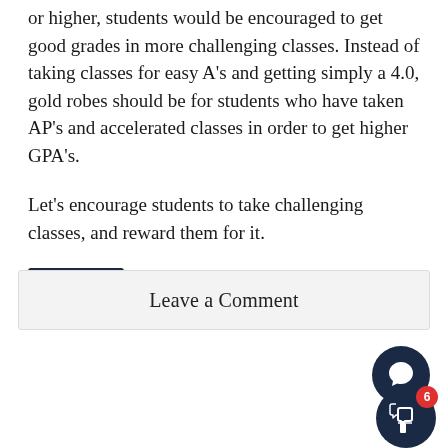or higher, students would be encouraged to get good grades in more challenging classes. Instead of taking classes for easy A’s and getting simply a 4.0, gold robes should be for students who have taken AP’s and accelerated classes in order to get higher GPA’s.
Let’s encourage students to take challenging classes, and reward them for it.
#issue7
Leave a Comment